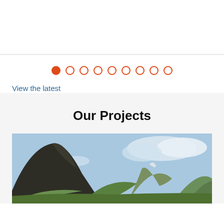[Figure (other): Pagination dots: one filled orange circle followed by eight empty orange circles]
View the latest
Our Projects
[Figure (photo): Landscape photograph of green rocky mountains under a blue sky with clouds]